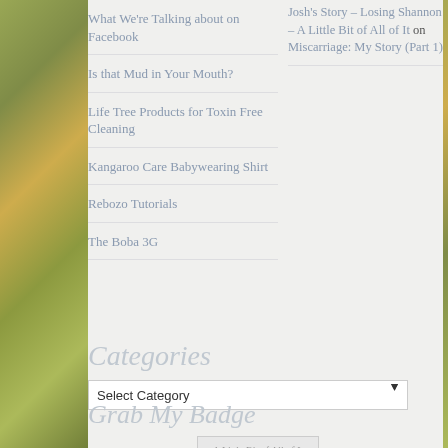What We're Talking about on Facebook
Is that Mud in Your Mouth?
Life Tree Products for Toxin Free Cleaning
Kangaroo Care Babywearing Shirt
Rebozo Tutorials
The Boba 3G
Josh's Story – Losing Shannon – A Little Bit of All of It on Miscarriage: My Story (Part 1)
Categories
Grab My Badge
[Figure (other): A Little Bit of All of It badge image]